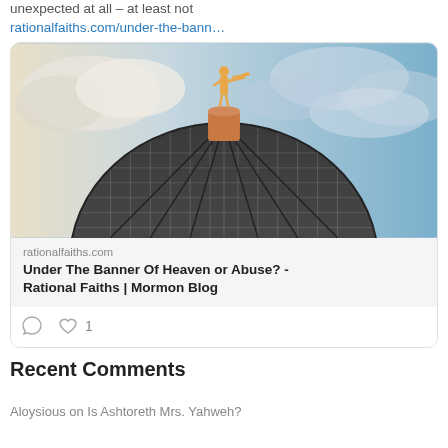unexpected at all – at least not rationalfaiths.com/under-the-bann…
[Figure (photo): Photo of a temple dome topped with a golden angel Moroni statue against a partly cloudy blue sky. The dome is dark with a grid/lattice pattern, and the spire base is copper-colored.]
rationalfaiths.com
Under The Banner Of Heaven or Abuse? - Rational Faiths | Mormon Blog
comment icon, heart icon, 1
Recent Comments
Aloysious on Is Ashtoreth Mrs. Yahweh?